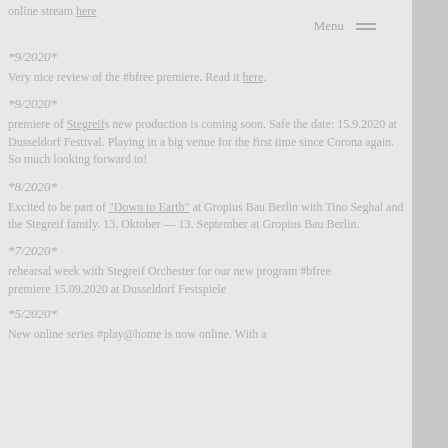online stream here
Menu
*9/2020*
Very nice review of the #bfree premiere. Read it here.
*9/2020*
premiere of Stegreif's new production is coming soon. Safe the date: 15.9.2020 at Dusseldorf Festival. Playing in a big venue for the first time since Corona again. So much looking forward to!
*8/2020*
Excited to be part of "Down to Earth" at Gropius Bau Berlin with Tino Seghal and the Stegreif family. 13. Oktober — 13. September at Gropius Bau Berlin.
*7/2020*
rehearsal week with Stegreif Orchester for our new program #bfree
premiere 15.09.2020 at Dusseldorf Festspiele
*5/2020*
New online series #play@home is now online. With a